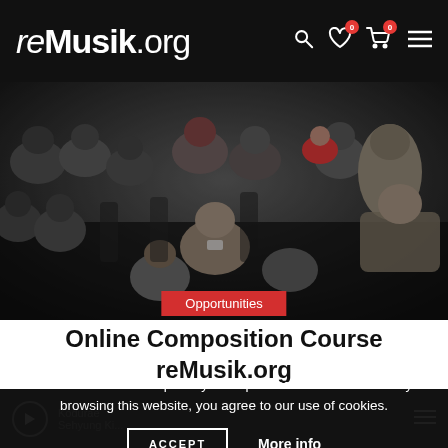reMusik.org
[Figure (photo): Overhead view of an audience seated in a dark concert hall, people looking at their phones and tablets, various ages]
Opportunities
Online Composition Course reMusik.org
We use cookies to improve your experience on our website. By browsing this website, you agree to our use of cookies.
ACCEPT   More info
Kodurae Sehyung Ki...